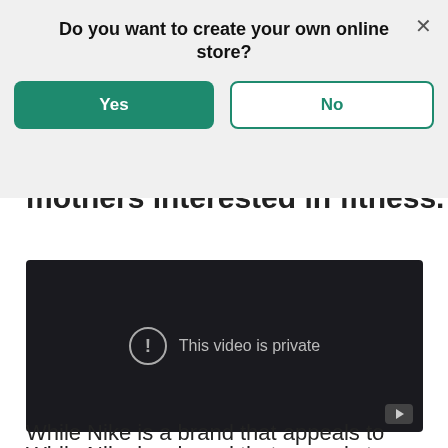Do you want to create your own online store?
Yes
No
mothers interested in fitness.
[Figure (screenshot): A dark video player showing the message 'This video is private' with an exclamation icon and a YouTube play button in the bottom right corner.]
While Nike is a brand that appeals to most people with a general interest in fitness,